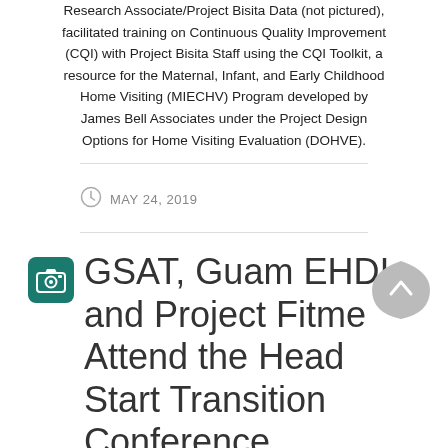Research Associate/Project Bisita Data (not pictured), facilitated training on Continuous Quality Improvement (CQI) with Project Bisita Staff using the CQI Toolkit, a resource for the Maternal, Infant, and Early Childhood Home Visiting (MIECHV) Program developed by James Bell Associates under the Project Design Options for Home Visiting Evaluation (DOHVE).
MAY 24, 2019
GSAT, Guam EHDI, and Project Fitme Attend the Head Start Transition Conference
by Guam CEDDERS